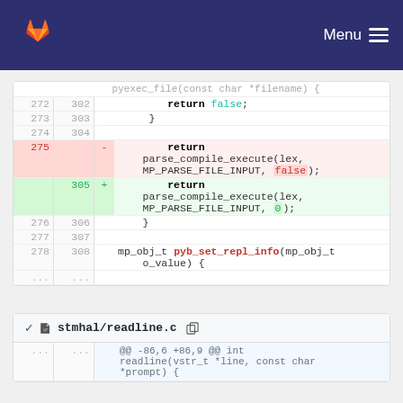GitLab — Menu
[Figure (screenshot): Code diff showing lines 272-278 (old) and 302-308 (new) of a C file. Removed lines show 'return parse_compile_execute(lex, MP_PARSE_FILE_INPUT, false);' and added lines show 'return parse_compile_execute(lex, MP_PARSE_FILE_INPUT, 0);']
stmhal/readline.c
@@ -86,6 +86,9 @@ int readline(vstr_t *line, const char *prompt) {